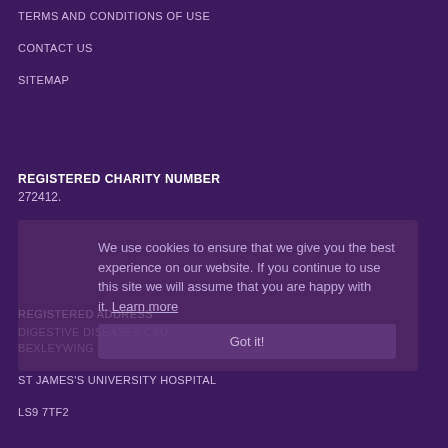TERMS AND CONDITIONS OF USE
CONTACT US
SITEMAP
REGISTERED CHARITY NUMBER
272412.
We use cookies to ensure that we give you the best experience on our website. If you continue to use this site we will assume that you are happy with it. Learn more
Got it!
REGISTERED ADDRESS
DIGESTIVE DISEASES CSU
BEXLEYWING
ST JAMES'S UNIVERSITY HOSPITAL
LS9 7TF2